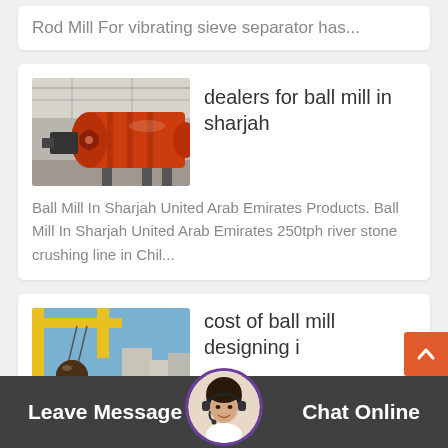Rod Mill For vibrating sieve separator has...
dealers for ball mill in sharjah
[Figure (photo): Orange ball mill industrial equipment in a factory warehouse]
Ball Mill In Sharjah United Arab Emirates Products. Ball Mill In Sharjah United Arab Emirates 250tph river stone crushing line in Chil...
cost of ball mill designing i
[Figure (photo): Industrial crane or lifting equipment outdoors with yellow structure and buildings]
Leave Message
[Figure (photo): Customer service avatar - woman with headset]
Chat Online